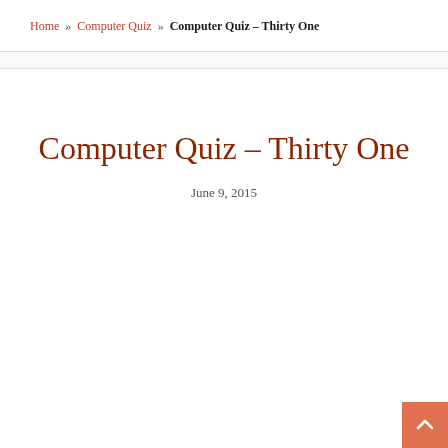Home » Computer Quiz » Computer Quiz – Thirty One
Computer Quiz – Thirty One
June 9, 2015